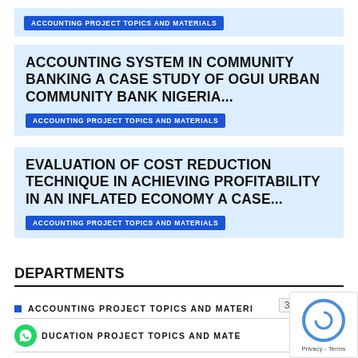ACCOUNTING PROJECT TOPICS AND MATERIALS
ACCOUNTING SYSTEM IN COMMUNITY BANKING A CASE STUDY OF OGUI URBAN COMMUNITY BANK NIGERIA...
ACCOUNTING PROJECT TOPICS AND MATERIALS
EVALUATION OF COST REDUCTION TECHNIQUE IN ACHIEVING PROFITABILITY IN AN INFLATED ECONOMY A CASE...
ACCOUNTING PROJECT TOPICS AND MATERIALS
DEPARTMENTS
ACCOUNTING PROJECT TOPICS AND MATERI
EDUCATION PROJECT TOPICS AND MATE